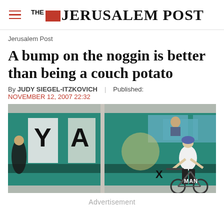THE JERUSALEM POST
Jerusalem Post
A bump on the noggin is better than being a couch potato
By JUDY SIEGEL-ITZKOVICH   Published: NOVEMBER 12, 2007 22:32
[Figure (photo): A cyclist wearing a white shirt and blue helmet riding a bicycle in front of a teal/green MAN bus on a street.]
Advertisement